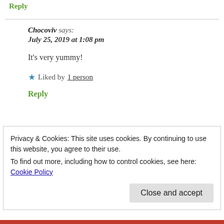Reply
Chocoviv says:
July 25, 2019 at 1:08 pm
It's very yummy!
★ Liked by 1 person
Reply
Privacy & Cookies: This site uses cookies. By continuing to use this website, you agree to their use.
To find out more, including how to control cookies, see here: Cookie Policy
Close and accept